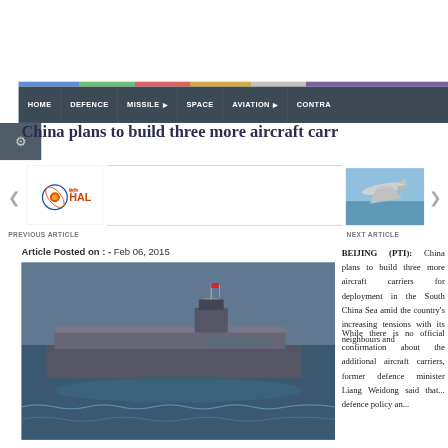Navigation bar: HOME | DEFENCE | MISSILE | SPACE | AVIATION | CONTRA...
China plans to build three more aircraft carr...
[Figure (logo): HAL (Hindustan Aeronautics Limited) logo]
[Figure (photo): Aircraft flying in blue sky - next article thumbnail]
PREVIOUS ARTICLE
NEXT ARTICLE
Article Posted on : - Feb 06, 2015
[Figure (photo): Aerial view of a Chinese aircraft carrier at sea]
BEIJING (PTI): China plans to build three more aircraft carriers for deployment in the South China Sea amid the country's increasing tensions with its neighbours and...
While there is no official confirmation about the additional aircraft carriers, former defence minister Liang Weidong said that... defence policy an...